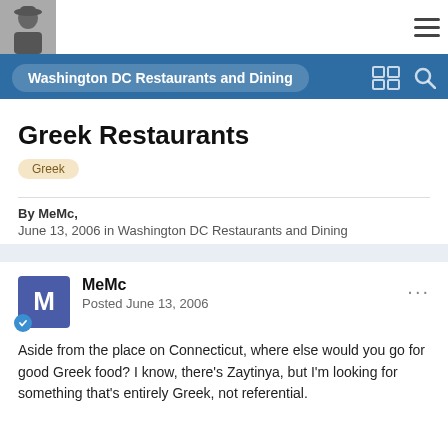Washington DC Restaurants and Dining
Greek Restaurants
Greek
By MeMc,
June 13, 2006 in Washington DC Restaurants and Dining
MeMc
Posted June 13, 2006
Aside from the place on Connecticut, where else would you go for good Greek food? I know, there's Zaytinya, but I'm looking for something that's entirely Greek, not referential.